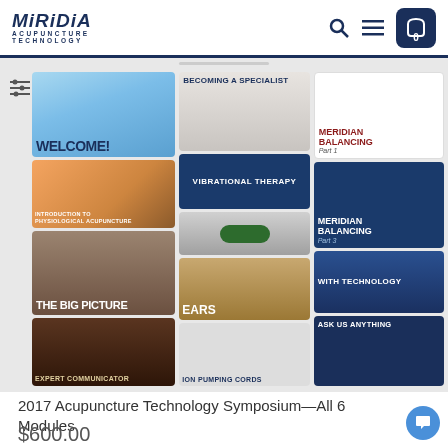Miridia Acupuncture Technology
[Figure (screenshot): Product image collage showing multiple course module thumbnails: Welcome, Introduction to Physiological Acupuncture, The Big Picture, Expert Communicator, Becoming a Specialist, Vibrational Therapy, Ears, Ion Pumping Cords, Meridian Balancing Part 1, Meridian Balancing Part 3, With Technology, Ask Us Anything]
2017 Acupuncture Technology Symposium—All 6 Modules
$600.00